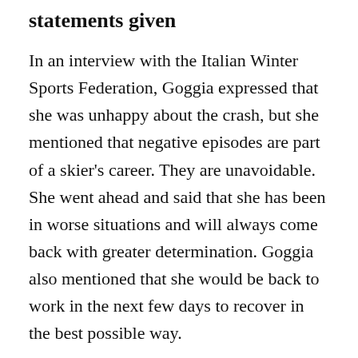statements given
In an interview with the Italian Winter Sports Federation, Goggia expressed that she was unhappy about the crash, but she mentioned that negative episodes are part of a skier's career. They are unavoidable. She went ahead and said that she has been in worse situations and will always come back with greater determination. Goggia also mentioned that she would be back to work in the next few days to recover in the best possible way.
Goggia has since then taken to social media with a word of encouragement to her fans. She clearly captioned on one of her posts, saying, ‘Remember; it is from pain that we can start again.’ This